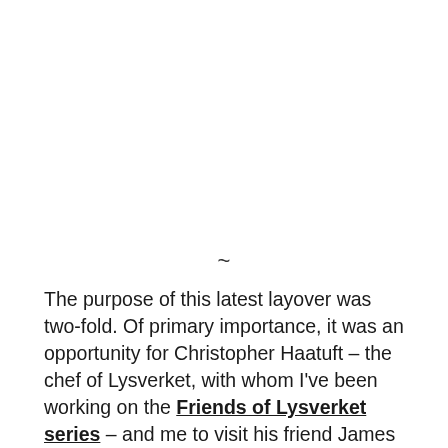~
The purpose of this latest layover was two-fold. Of primary importance, it was an opportunity for Christopher Haatuft – the chef of Lysverket, with whom I've been working on the Friends of Lysverket series – and me to visit his friend James Knappett, who will be the guest chef, along with Bradford McDonald from of